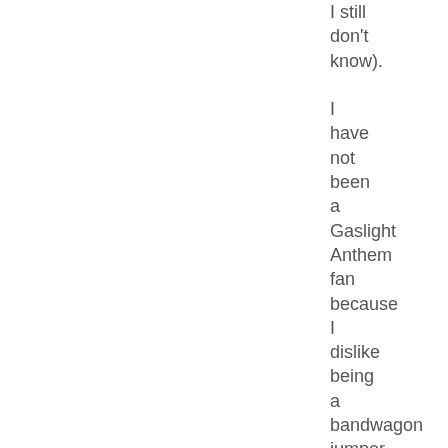I still don't know). I have not been a Gaslight Anthem fan because I dislike being a bandwagon jumper, and there were too many people I